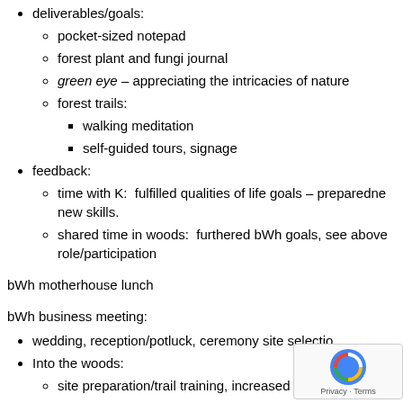deliverables/goals:
pocket-sized notepad
forest plant and fungi journal
green eye – appreciating the intricacies of nature
forest trails:
walking meditation
self-guided tours, signage
feedback:
time with K:  fulfilled qualities of life goals – preparedne... new skills.
shared time in woods:  furthered bWh goals, see above role/participation
bWh motherhouse lunch
bWh business meeting:
wedding, reception/potluck, ceremony site selectio...
Into the woods:
site preparation/trail training, increased familiarity with...